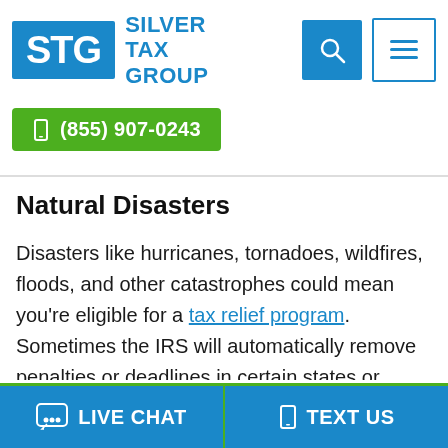[Figure (logo): Silver Tax Group logo with STG in blue rectangle and 'SILVER TAX GROUP' text in blue]
[Figure (other): Search icon (magnifying glass) in blue square and hamburger menu icon in white square with blue border]
(855) 907-0243
Natural Disasters
Disasters like hurricanes, tornadoes, wildfires, floods, and other catastrophes could mean you're eligible for a tax relief program. Sometimes the IRS will automatically remove penalties or deadlines in certain states or counties when a crisis strikes a community. A hurricane that
LIVE CHAT
TEXT US